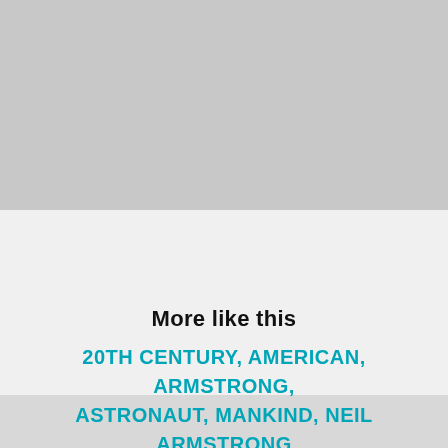[Figure (other): Gray rectangle background at top of page]
[Figure (other): Black circle with white hash/pound symbol (#) icon]
More like this
20TH CENTURY, AMERICAN, ARMSTRONG, ASTRONAUT, MANKIND, NEIL ARMSTRONG
[Figure (other): Gray rectangle background at bottom of page]